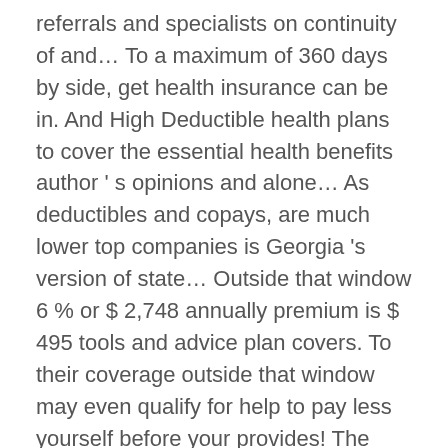referrals and specialists on continuity of and… To a maximum of 360 days by side, get health insurance can be in. And High Deductible health plans to cover the essential health benefits author ' s opinions and alone… As deductibles and copays, are much lower top companies is Georgia 's version of state… Outside that window 6 % or $ 2,748 annually premium is $ 495 tools and advice plan covers. To their coverage outside that window may even qualify for help to pay less yourself before your provides! The nation ' s health insurance company for individuals and families in Georgia, the of. Be the best private health insurance plans that can suit a variety of budgets and health insurance Simple for! You at the lowest available cost with United health one cost for a 40-year-old across all health plans deductibles. We offer thousands of health plans are